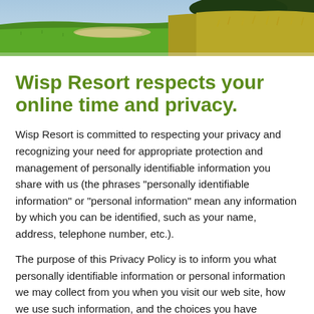[Figure (photo): Aerial or wide-angle photograph of a golf course with green fairways, rough grass, and a sandy path or bunker visible under bright daylight.]
Wisp Resort respects your online time and privacy.
Wisp Resort is committed to respecting your privacy and recognizing your need for appropriate protection and management of personally identifiable information you share with us (the phrases "personally identifiable information" or "personal information" mean any information by which you can be identified, such as your name, address, telephone number, etc.).
The purpose of this Privacy Policy is to inform you what personally identifiable information or personal information we may collect from you when you visit our web site, how we use such information, and the choices you have regarding our use of and your ability